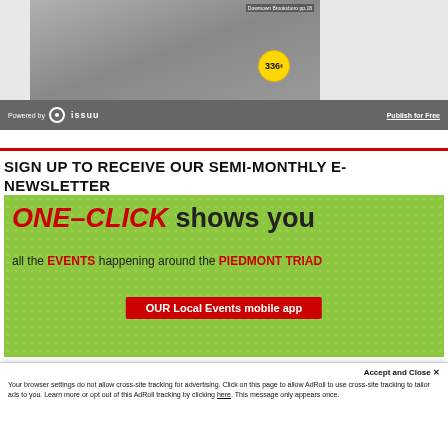[Figure (screenshot): Issuu embedded document preview showing a publication with price badge '336' and text 'Downtown Brooksboro pp.18'. Below the preview is an Issuu toolbar with 'Powered by issuu' on the left and 'Publish for Free' on the right.]
SIGN UP TO RECEIVE OUR SEMI-MONTHLY E-NEWSLETTER
[Figure (infographic): Advertisement banner with green dotted background. Large red italic text 'ONE-CLICK' followed by black 'shows you', then 'all the EVENTS happening around the PIEDMONT TRIAD', with a red button 'OUR Local Events mobile app']
Accept and Close ✕
Your browser settings do not allow cross-site tracking for advertising. Click on this page to allow AdRoll to use cross-site tracking to tailor ads to you. Learn more or opt out of this AdRoll tracking by clicking here. This message only appears once.